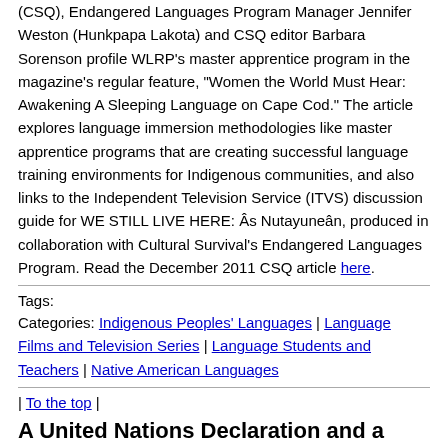(CSQ), Endangered Languages Program Manager Jennifer Weston (Hunkpapa Lakota) and CSQ editor Barbara Sorenson profile WLRP's master apprentice program in the magazine's regular feature, "Women the World Must Hear: Awakening A Sleeping Language on Cape Cod." The article explores language immersion methodologies like master apprentice programs that are creating successful language training environments for Indigenous communities, and also links to the Independent Television Service (ITVS) discussion guide for WE STILL LIVE HERE: Âs Nutayuneân, produced in collaboration with Cultural Survival's Endangered Languages Program. Read the December 2011 CSQ article here.
Tags:
Categories: Indigenous Peoples' Languages | Language Films and Television Series | Language Students and Teachers | Native American Languages
| To the top |
A United Nations Declaration and a Proposed Executive Order on Native Language Revitalization
by Our Mother Tongues  11/10/2011
The international community marked the fourth anniversary of the adoption of the United Nations Declaration on the Rights of Indigenous Peoples earlier this fall on September 13; however in the United States, the one-